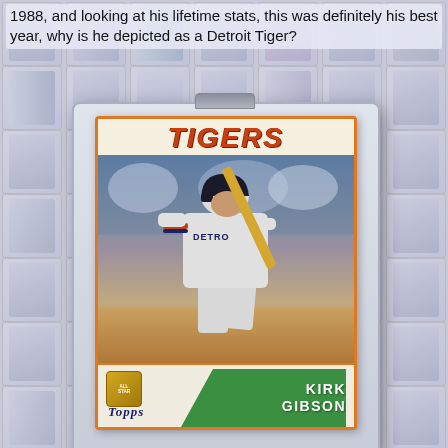1988, and looking at his lifetime stats, this was definitely his best year, why is he depicted as a Detroit Tiger?
[Figure (photo): A 1988 Topps baseball card of Kirk Gibson in a Detroit Tigers uniform, shown in a batting stance. The card has an orange border, 'TIGERS' in red italic letters at the top, a green diagonal name banner in the lower right with 'KIRK GIBSON' in white, a Topps logo at the bottom left, and an All-Star badge. The card is displayed in a clear plastic card holder with a gray tab at the top.]